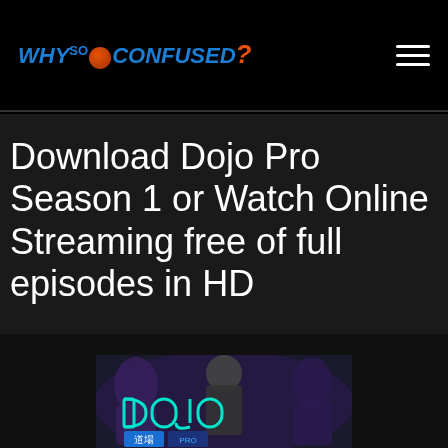WHY SO CONFUSED? [logo with hamburger menu]
Download Dojo Pro Season 1 or Watch Online Streaming free of full episodes in HD
[Figure (photo): Dojo Pro TV show promotional image with fighters and neon-style DOJO logo text in teal, with Japanese characters 道場 below]